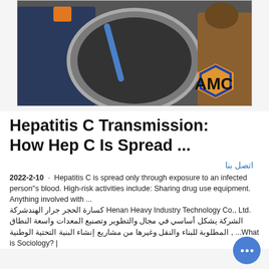[Figure (photo): Two workers in protective gear working with industrial equipment, large circular metal container. AMC logo visible in bottom right of image.]
Hepatitis C Transmission: How Hep C Is Spread ...
اتصل بنا
2022-2-10 · Hepatitis C is spread only through exposure to an infected person"s blood. High-risk activities include: Sharing drug use equipment. Anything involved with ... كسارة الحجر جرار الهندشركة Henan Heavy Industry Technology Co., Ltd. الشركة يشكل أساسي في مجال والتطوير وتصنيع المعدات واسعة النطاق المطلوبة للبناء والنقل وغيرها من مشاريع إنشاء البنية التحتية الوطنية , ...What is Sociology? | Department of Sociology Sociology is the study of h